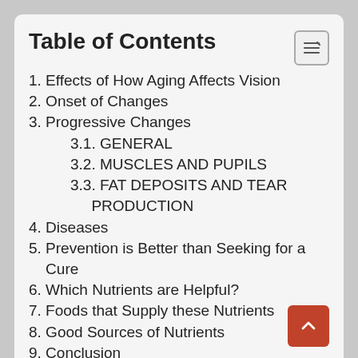Table of Contents
1. Effects of How Aging Affects Vision
2. Onset of Changes
3. Progressive Changes
3.1. GENERAL
3.2. MUSCLES AND PUPILS
3.3. FAT DEPOSITS AND TEAR PRODUCTION
4. Diseases
5. Prevention is Better than Seeking for a Cure
6. Which Nutrients are Helpful?
7. Foods that Supply these Nutrients
8. Good Sources of Nutrients
9. Conclusion
10. References